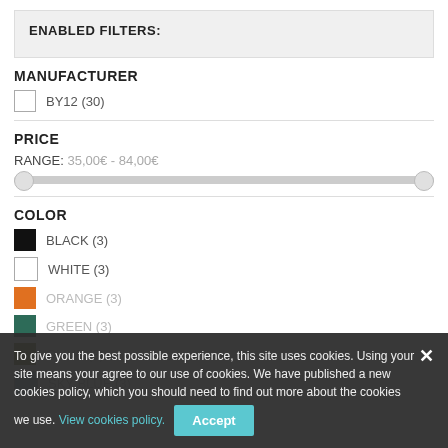ENABLED FILTERS:
MANUFACTURER
BY12 (30)
PRICE
RANGE: 35,00€ - 84,00€
COLOR
BLACK (3)
WHITE (3)
ORANGE (3)
GREEN (3)
OLIVE (3)
SKY BLUE (3)
To give you the best possible experience, this site uses cookies. Using your site means your agree to our use of cookies. We have published a new cookies policy, which you should need to find out more about the cookies we use. View cookies policy.